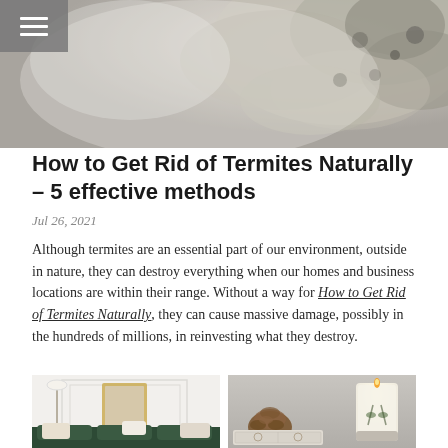[Figure (photo): Blurred close-up nature photograph showing what appears to be moss or lichen on branches, with soft natural light, muted greens and creams.]
How to Get Rid of Termites Naturally – 5 effective methods
Jul 26, 2021
Although termites are an essential part of our environment, outside in nature, they can destroy everything when our homes and business locations are within their range. Without a way for How to Get Rid of Termites Naturally, they can cause massive damage, possibly in the hundreds of millions, in reinvesting what they destroy.
[Figure (photo): Interior room photo showing white walls with paneling detail, a floor lamp, and a gold-framed mirror, with dark green velvet sofa and decorative pillows in foreground.]
[Figure (photo): Styled flat lay on grey surface showing pine cones, a lit white pillar candle, and a book with decorative cover.]